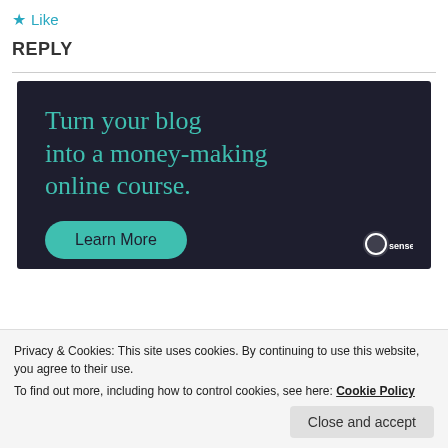★ Like
REPLY
[Figure (infographic): Dark banner ad: 'Turn your blog into a money-making online course.' with a teal 'Learn More' button and Sensei logo]
Privacy & Cookies: This site uses cookies. By continuing to use this website, you agree to their use. To find out more, including how to control cookies, see here: Cookie Policy
Close and accept
NAWAZISH